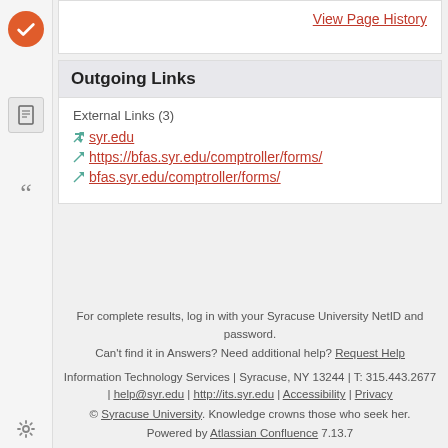View Page History
Outgoing Links
External Links (3)
syr.edu
https://bfas.syr.edu/comptroller/forms/
bfas.syr.edu/comptroller/forms/
For complete results, log in with your Syracuse University NetID and password. Can't find it in Answers? Need additional help? Request Help
Information Technology Services | Syracuse, NY 13244 | T: 315.443.2677 | help@syr.edu | http://its.syr.edu | Accessibility | Privacy
© Syracuse University. Knowledge crowns those who seek her.
Powered by Atlassian Confluence 7.13.7